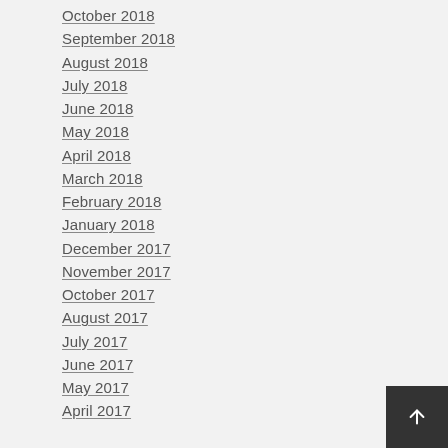October 2018
September 2018
August 2018
July 2018
June 2018
May 2018
April 2018
March 2018
February 2018
January 2018
December 2017
November 2017
October 2017
August 2017
July 2017
June 2017
May 2017
April 2017